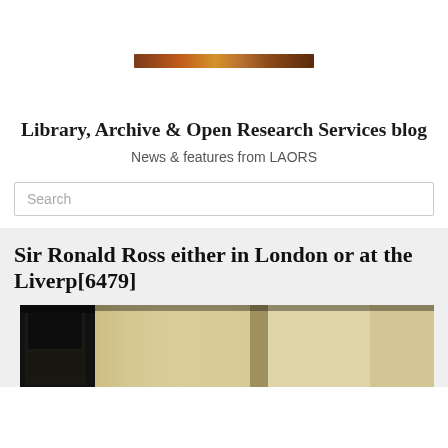[Figure (photo): Partial top banner image, appears to be a decorative horizontal strip showing what looks like a historical or archival photograph in warm brown tones]
Library, Archive & Open Research Services blog
News & features from LAORS
Search
Sir Ronald Ross either in London or at the Liverp[6479]
[Figure (photo): Partial photograph showing what appears to be a wooden piece of furniture or architectural detail, in sepia/black and white tones, cropped at the bottom of the page]